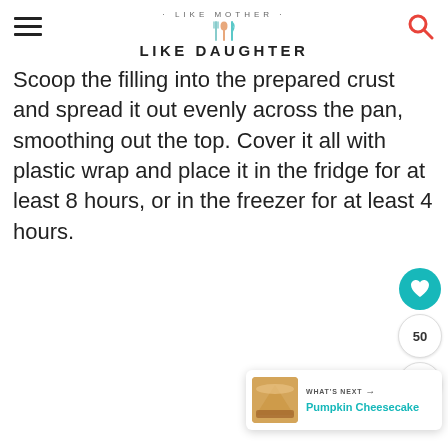· LIKE MOTHER · LIKE DAUGHTER
Scoop the filling into the prepared crust and spread it out evenly across the pan, smoothing out the top. Cover it all with plastic wrap and place it in the fridge for at least 8 hours, or in the freezer for at least 4 hours.
[Figure (other): Heart/like button (teal circle with heart icon), count badge showing 50, and share button]
[Figure (other): What's Next card with pumpkin cheesecake thumbnail and text 'WHAT'S NEXT → Pumpkin Cheesecake']